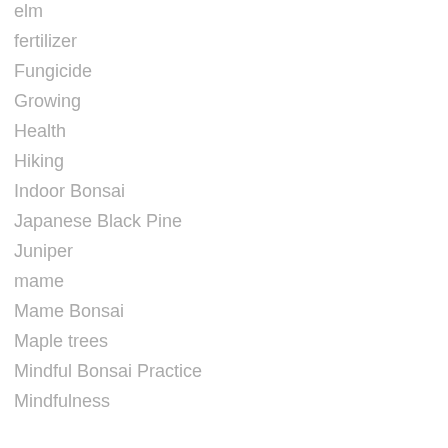elm
fertilizer
Fungicide
Growing
Health
Hiking
Indoor Bonsai
Japanese Black Pine
Juniper
mame
Mame Bonsai
Maple trees
Mindful Bonsai Practice
Mindfulness